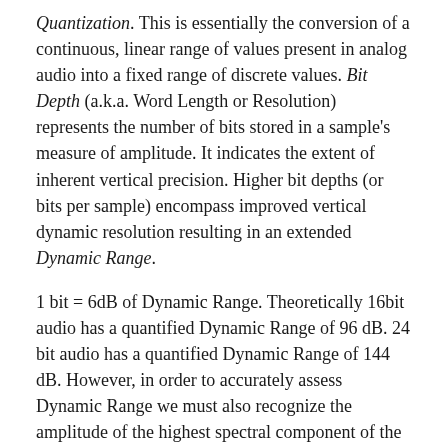Quantization. This is essentially the conversion of a continuous, linear range of values present in analog audio into a fixed range of discrete values. Bit Depth (a.k.a. Word Length or Resolution) represents the number of bits stored in a sample's measure of amplitude. It indicates the extent of inherent vertical precision. Higher bit depths (or bits per sample) encompass improved vertical dynamic resolution resulting in an extended Dynamic Range.
1 bit = 6dB of Dynamic Range. Theoretically 16bit audio has a quantified Dynamic Range of 96 dB. 24 bit audio has a quantified Dynamic Range of 144 dB. However, in order to accurately assess Dynamic Range we must also recognize the amplitude of the highest spectral component of the inherent noise floor. Specifically, where it